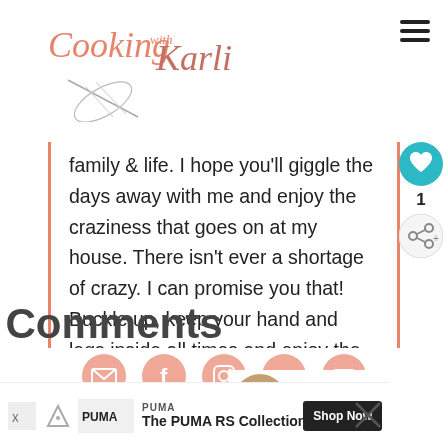[Figure (logo): Cooking with Karli script logo with whisk illustration]
family & life. I hope you'll giggle the days away with me and enjoy the craziness that goes on at my house. There isn't ever a shortage of crazy. I can promise you that! Buckle up, keep your hand and legs inside all times and enjoy the ride! Read more...
[Figure (infographic): Social media icon buttons: email, facebook, instagram, pinterest, youtube]
[Figure (infographic): Heart like button with count 1 and share button]
[Figure (photo): Small circular avatar photo of children with WHAT'S NEXT label and Meet the Kids text]
Comments
[Figure (infographic): PUMA advertisement banner: The PUMA RS Collection with Shop Now button]